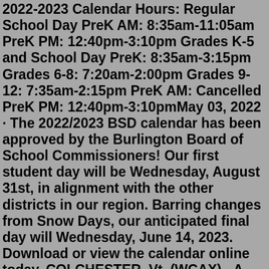2022-2023 Calendar Hours: Regular School Day PreK AM: 8:35am-11:05am PreK PM: 12:40pm-3:10pm Grades K-5 and School Day PreK: 8:35am-3:15pm Grades 6-8: 7:20am-2:00pm Grades 9-12: 7:35am-2:15pm PreK AM: Cancelled PreK PM: 12:40pm-3:10pmMay 03, 2022 · The 2022/2023 BSD calendar has been approved by the Burlington Board of School Commissioners! Our first student day will be Wednesday, August 31st, in alignment with the other districts in our region. Barring changes from Snow Days, our anticipated final day will Wednesday, June 14, 2023. Download or view the calendar online today. COLCHESTER, Vt. (WCAX) - A Colchester school was evacuated Wednesday after officials found what appeared to be an old hand grenade. Around lunchtime, over 500 students evacuated to the neighboring...COLCHESTER SCHOOL DISTRICT CALENDAR – SY 2022-2023 (GRADES PK-12)Please choose your school district in Nova Scotia from the list below to view a calendar of your 2022 and 2023 school holidays. Annapolis Valley Regional